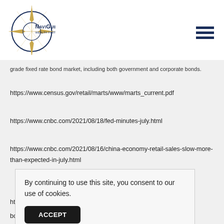NaviGuide Wealth Partners, Inc.
grade fixed rate bond market, including both government and corporate bonds.
https://www.census.gov/retail/marts/www/marts_current.pdf
https://www.cnbc.com/2021/08/18/fed-minutes-july.html
https://www.cnbc.com/2021/08/16/china-economy-retail-sales-slow-more-than-expected-in-july.html
ht
bc
By continuing to use this site, you consent to our use of cookies. ACCEPT